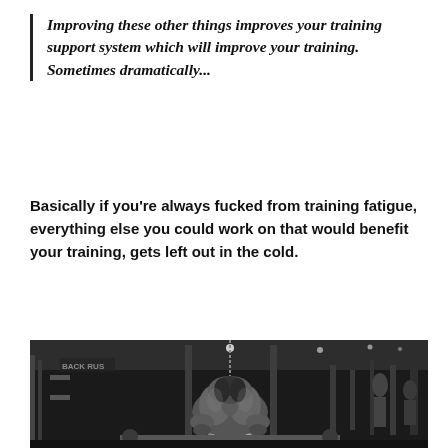Improving these other things improves your training support system which will improve your training. Sometimes dramatically...
Basically if you're always fucked from training fatigue, everything else you could work on that would benefit your training, gets left out in the cold.
[Figure (photo): Black and white photo of a heavily muscular person sitting hunched over with head bowed down in a gym, surrounded by gym equipment and other gym-goers in the background.]